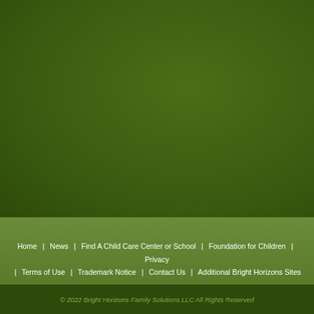Home  |  News  |  Find A Child Care Center or School  |  Foundation for Children  |  Privacy  |  Terms of Use  |  Trademark Notice  |  Contact Us  |  Additional Bright Horizons Sites
© 2022 Bright Horizons Family Solutions LLC All Rights Reserved